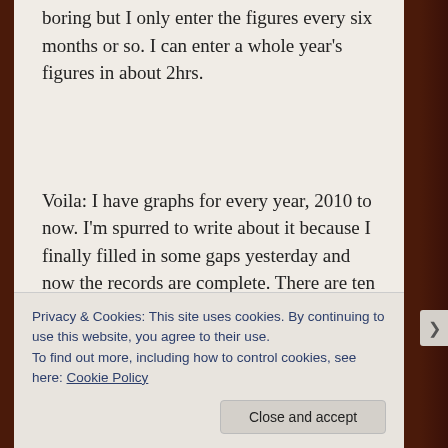boring but I only enter the figures every six months or so. I can enter a whole year’s figures in about 2hrs.
Voila: I have graphs for every year, 2010 to now. I’m spurred to write about it because I finally filled in some gaps yesterday and now the records are complete. There are ten graphs but I won’t bore you with all of them:
Privacy & Cookies: This site uses cookies. By continuing to use this website, you agree to their use.
To find out more, including how to control cookies, see here: Cookie Policy